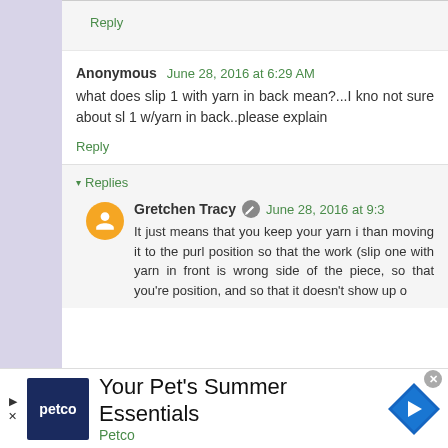Reply
Anonymous   June 28, 2016 at 6:29 AM
what does slip 1 with yarn in back mean?...I kno not sure about sl 1 w/yarn in back..please explain
Reply
▾ Replies
Gretchen Tracy  June 28, 2016 at 9:3
It just means that you keep your yarn i than moving it to the purl position so that the work (slip one with yarn in front is wrong side of the piece, so that you're position, and so that it doesn't show up o
[Figure (infographic): Petco advertisement banner: Your Pet's Summer Essentials, Petco logo and navigation arrow icon]